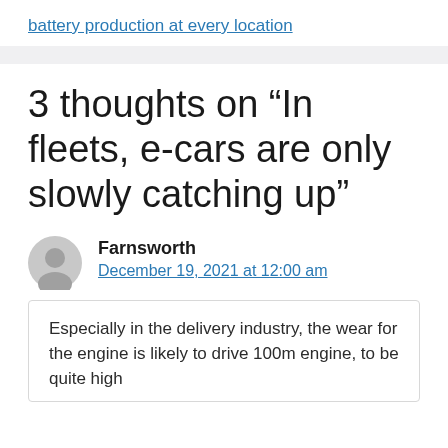battery production at every location
3 thoughts on “In fleets, e-cars are only slowly catching up”
Farnsworth
December 19, 2021 at 12:00 am
Especially in the delivery industry, the wear for the engine is likely to drive 100m engine, to be quite high